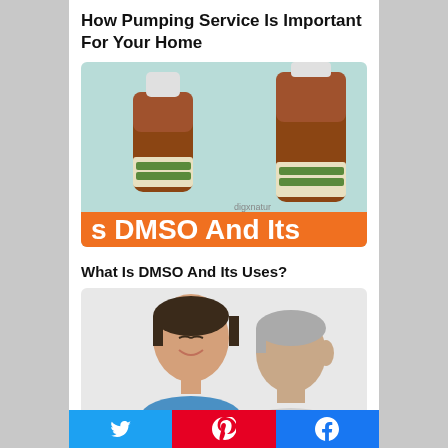How Pumping Service Is Important For Your Home
[Figure (photo): Two amber glass bottles with white caps and green labels on a light blue background, with 'digxnatur' text visible. Orange banner at bottom reads 's DMSO And Its']
What Is DMSO And Its Uses?
[Figure (photo): A smiling female healthcare professional in blue scrubs looking at a grey-haired male patient]
[Figure (infographic): Social share buttons: Twitter (blue), Pinterest (red), Facebook (blue)]